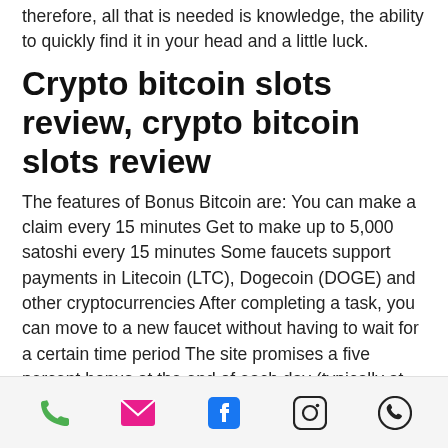therefore, all that is needed is knowledge, the ability to quickly find it in your head and a little luck.
Crypto bitcoin slots review, crypto bitcoin slots review
The features of Bonus Bitcoin are: You can make a claim every 15 minutes Get to make up to 5,000 satoshi every 15 minutes Some faucets support payments in Litecoin (LTC), Dogecoin (DOGE) and other cryptocurrencies After completing a task, you can move to a new faucet without having to wait for a certain time period The site promises a five percent bonus at the end of each day (typically at midnight) 50 percent lifetime commission for referrals. Bonus
Phone | Email | Facebook | Instagram | WhatsApp